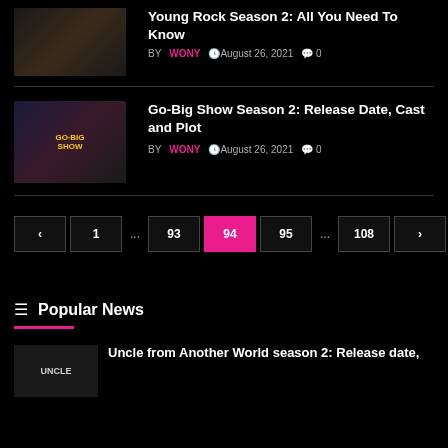Young Rock Season 2: All You Need To Know
BY WONY  August 26, 2021  0
Go-Big Show Season 2: Release Date, Cast and Plot
BY WONY  August 26, 2021  0
< 1 ... 93 94 95 ... 108 >
Popular News
Uncle from Another World season 2: Release date,